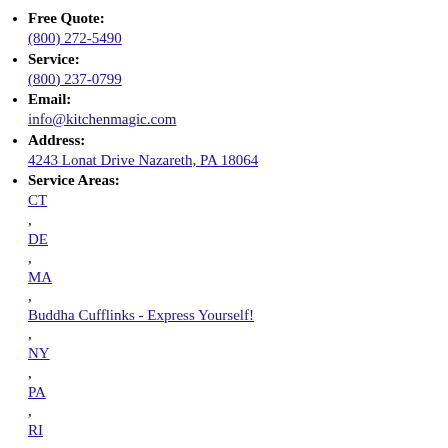Free Quote: (800) 272-5490
Service: (800) 237-0799
Email: info@kitchenmagic.com
Address: 4243 Lonat Drive Nazareth, PA 18064
Service Areas: CT , DE , MA , Buddha Cufflinks - Express Yourself! , NY , PA , RI
Sign up for our newsletter
Free kitchen design articles right to your inbox